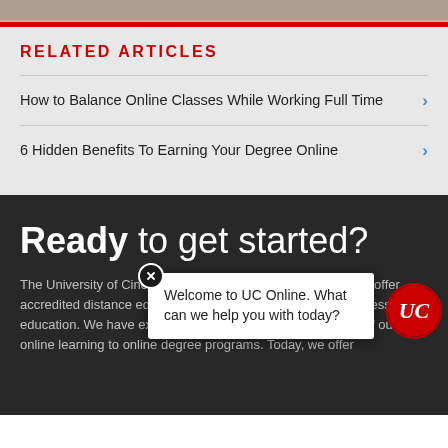[Figure (photo): Top image strip showing a partial photo]
Related Articles
How to Balance Online Classes While Working Full Time
6 Hidden Benefits To Earning Your Degree Online
Ready to get started?
The University of Cincinnati was one of the first institutions to offer accredited distance education online courses, expanding access to education. We have expanded the convenience and quality of our online learning to online degree programs. Today, we offer
[Figure (screenshot): Chat popup overlay saying Welcome to UC Online. What can we help you with today? with a close button and UC logo]